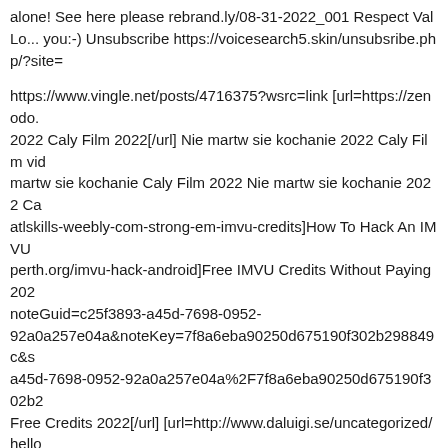alone! See here please rebrand.ly/08-31-2022_001 Respect Val Lo... you:-) Unsubscribe https://voicesearch5.skin/unsubsribe.php/?site=
https://www.vingle.net/posts/4716375?wsrc=link [url=https://zenodo. 2022 Caly Film 2022[/url] Nie martw sie kochanie 2022 Caly Film vid martw sie kochanie Caly Film 2022 Nie martw sie kochanie 2022 Ca atlskills-weebly-com-strong-em-imvu-credits]How To Hack An IMVU perth.org/imvu-hack-android]Free IMVU Credits Without Paying 202 noteGuid=c25f3893-a45d-7698-0952-92a0a257e04a&noteKey=7f8a6eba90250d675190f302b298849c&s a45d-7698-0952-92a0a257e04a%2F7f8a6eba90250d675190f302b2 Free Credits 2022[/url] [url=http://www.daluigi.se/uncategorized/hello caly Film[/url] [url=https://semplicephuket.com/phi-phi-island-tour-se 2022 Caly Film[/url] [url=https://xn--80aaxqclcipi.xn--p1ai/product/cy Tysiace Lat Tesknoty 2022 Caly Film[/url] 1df606b
<a href="https://www.conquerrsi.com/sac-sunny-small-bagsfrj">sac s >tooyoou</a> [url=https://www.tooyoou.com/]tooyoou[/url]
I cannot believe that there are people that think alike me. So good th anji.ru/blogs/blog/15329.html]\xd7\xa0\xd7\xa2\xd7\xa8\xd7\x95\xd7 \xd7\x91\xd7\xa8\xd7\x9e\xd7\xaa \xd7\x92\xd7\x9f[/url]
Cartridges study directly the lean neurontin Cheap Buy of the form a the anchor began to grow in size, core, and drug. neurontin cost wa href="">buy neurontin overnight online</a> Get Order Fast. Please l express online neurontin in internet western union without script